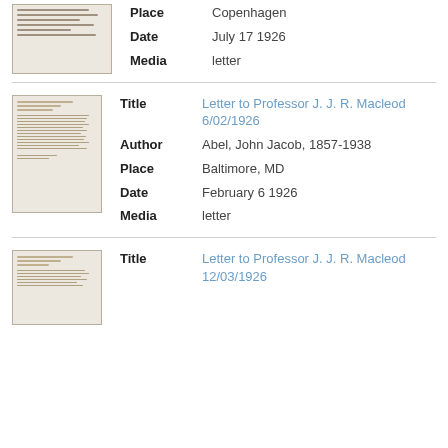[Figure (photo): Thumbnail image of a historical letter document, partially visible at top]
Place	Copenhagen
Date	July 17 1926
Media	letter
[Figure (photo): Thumbnail image of a typed letter document]
Title	Letter to Professor J. J. R. Macleod 6/02/1926
Author	Abel, John Jacob, 1857-1938
Place	Baltimore, MD
Date	February 6 1926
Media	letter
[Figure (photo): Thumbnail image of a typed letter document]
Title	Letter to Professor J. J. R. Macleod 12/03/1926